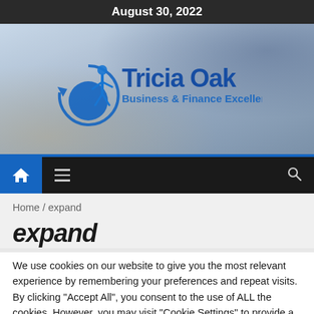August 30, 2022
[Figure (logo): Tricia Oak Business & Finance Excellency logo with blue figure icon and circular arrow, overlaid on a blurred office background photo]
[Figure (screenshot): Navigation bar with blue home icon box, hamburger menu icon, and search icon on dark background]
Home / expand
expand
We use cookies on our website to give you the most relevant experience by remembering your preferences and repeat visits. By clicking "Accept All", you consent to the use of ALL the cookies. However, you may visit "Cookie Settings" to provide a controlled consent.